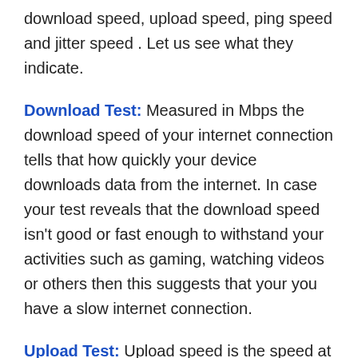download speed, upload speed, ping speed and jitter speed . Let us see what they indicate.
Download Test: Measured in Mbps the download speed of your internet connection tells that how quickly your device downloads data from the internet. In case your test reveals that the download speed isn't good or fast enough to withstand your activities such as gaming, watching videos or others then this suggests that your you have a slow internet connection.
Upload Test: Upload speed is the speed at which your device tends to upload the data over internet and is measured in Mbps. The